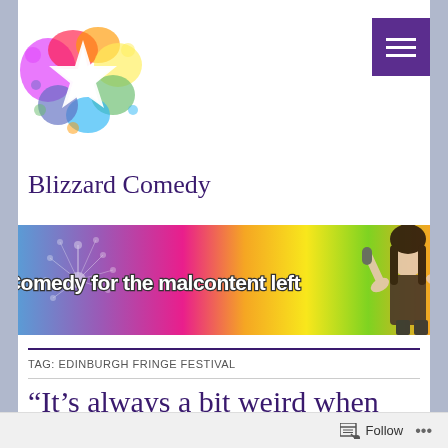[Figure (logo): Blizzard Comedy rainbow splash logo with white star/flower shape in center]
[Figure (illustration): Hamburger menu icon (three white horizontal lines) on purple background]
Blizzard Comedy
[Figure (photo): Blizzard Comedy banner: colorful rainbow gradient background with dandelion puff, text 'Comedy for the malcontent left' in white graffiti-style font, woman performing comedy on right side]
TAG: EDINBURGH FRINGE FESTIVAL
“It’s always a bit weird when
Follow …